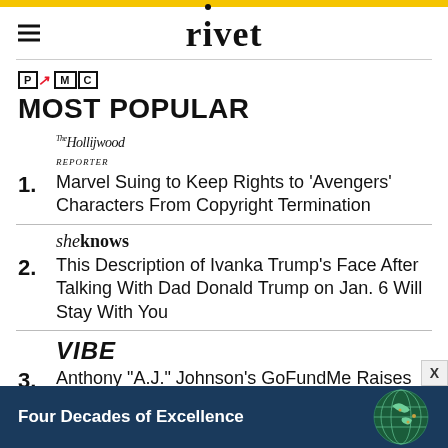rivet
[Figure (logo): PMC logo with red arrow]
MOST POPULAR
[Figure (logo): The Hollywood Reporter italic logo]
1. Marvel Suing to Keep Rights to 'Avengers' Characters From Copyright Termination
[Figure (logo): SheKnows logo]
2. This Description of Ivanka Trump's Face After Talking With Dad Donald Trump on Jan. 6 Will Stay With You
[Figure (logo): VIBE logo]
3. Anthony "A.J." Johnson's GoFundMe Raises
[Figure (infographic): Advertisement banner: Four Decades of Excellence with globe graphic]